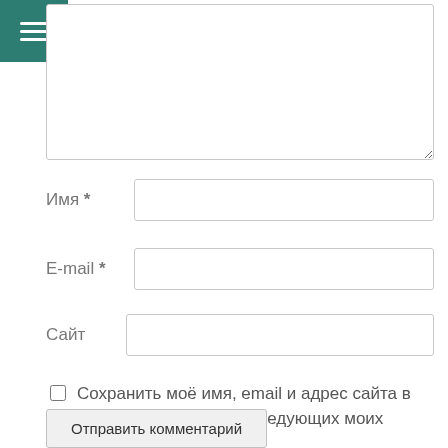[Figure (screenshot): Teal/dark-green hamburger menu button in top-left corner]
[Figure (screenshot): Comment textarea input field]
Имя *
[Figure (screenshot): Name text input field]
E-mail *
[Figure (screenshot): Email text input field]
Сайт
[Figure (screenshot): Website text input field]
Сохранить моё имя, email и адрес сайта в этом браузере для последующих моих комментариев.
Отправить комментарий